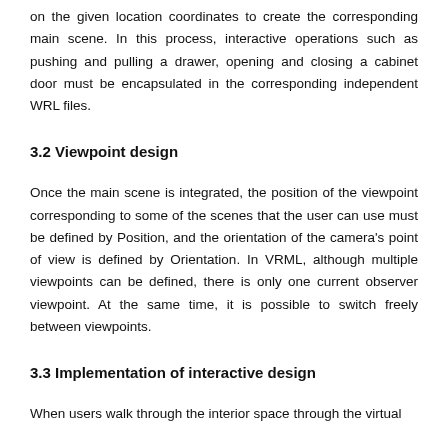on the given location coordinates to create the corresponding main scene. In this process, interactive operations such as pushing and pulling a drawer, opening and closing a cabinet door must be encapsulated in the corresponding independent WRL files.
3.2 Viewpoint design
Once the main scene is integrated, the position of the viewpoint corresponding to some of the scenes that the user can use must be defined by Position, and the orientation of the camera's point of view is defined by Orientation. In VRML, although multiple viewpoints can be defined, there is only one current observer viewpoint. At the same time, it is possible to switch freely between viewpoints.
3.3 Implementation of interactive design
When users walk through the interior space through the virtual